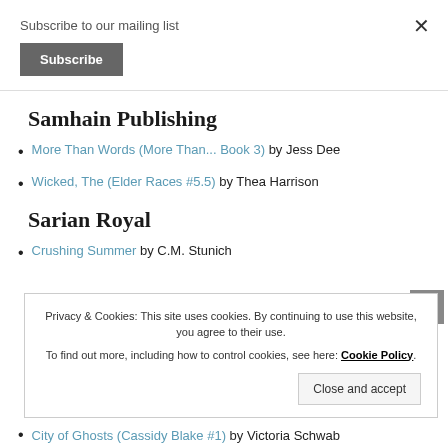Subscribe to our mailing list
Subscribe
Samhain Publishing
More Than Words (More Than... Book 3) by Jess Dee
Wicked, The (Elder Races #5.5) by Thea Harrison
Sarian Royal
Crushing Summer by C.M. Stunich
Privacy & Cookies: This site uses cookies. By continuing to use this website, you agree to their use.
To find out more, including how to control cookies, see here: Cookie Policy
Close and accept
City of Ghosts (Cassidy Blake #1) by Victoria Schwab